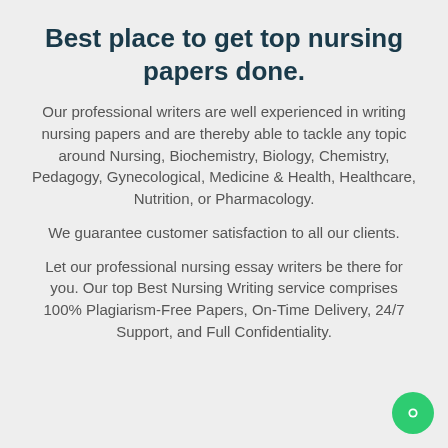Best place to get top nursing papers done.
Our professional writers are well experienced in writing nursing papers and are thereby able to tackle any topic around Nursing, Biochemistry, Biology, Chemistry, Pedagogy, Gynecological, Medicine & Health, Healthcare, Nutrition, or Pharmacology.
We guarantee customer satisfaction to all our clients.
Let our professional nursing essay writers be there for you. Our top Best Nursing Writing service comprises 100% Plagiarism-Free Papers, On-Time Delivery, 24/7 Support, and Full Confidentiality.